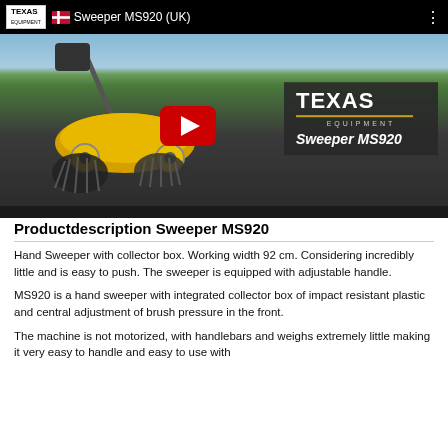[Figure (screenshot): YouTube video thumbnail showing Texas Equipment Sweeper MS920 (UK). A yellow hand sweeper machine is shown on a road surface with brushes. The video has a red YouTube play button overlay. The top bar shows the Texas logo, a Danish flag icon, and the title 'Sweeper MS920 (UK)'. An overlay box shows the Texas Equipment logo and 'Sweeper MS920' text.]
Productdescription Sweeper MS920
Hand Sweeper with collector box. Working width 92 cm. Considering incredibly little and is easy to push. The sweeper is equipped with adjustable handle.
MS920 is a hand sweeper with integrated collector box of impact resistant plastic and central adjustment of brush pressure in the front.
The machine is not motorized, with handlebars and weighs extremely little making it very easy to handle and easy to use with